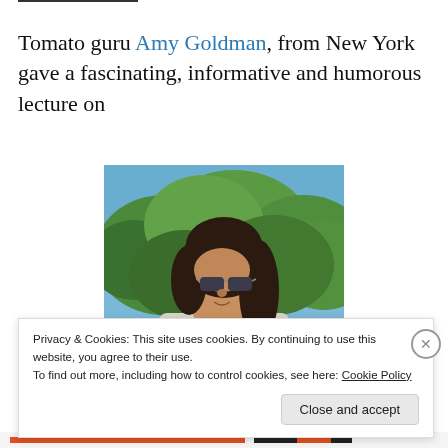Tomato guru Amy Goldman, from New York gave a fascinating, informative and humorous lecture on
[Figure (photo): Photo of Amy Goldman, a woman with dark hair and sunglasses, outdoors with green trees in background.]
Privacy & Cookies: This site uses cookies. By continuing to use this website, you agree to their use. To find out more, including how to control cookies, see here: Cookie Policy